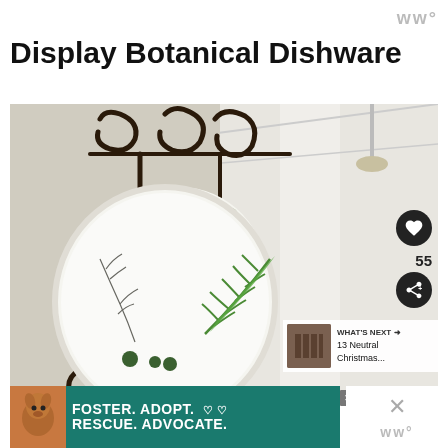WWº
Display Botanical Dishware
[Figure (photo): Photo of botanical dishware — plates with green leaf/fern designs displayed on a dark metal scrollwork wall rack against a light background. Right side shows blurred white kitchen interior.]
55
WHAT'S NEXT → 13 Neutral Christmas...
[Figure (photo): Thumbnail of 13 Neutral Christmas article]
FOSTER. ADOPT. ♡ ♡ RESCUE. ADVOCATE.
WWº